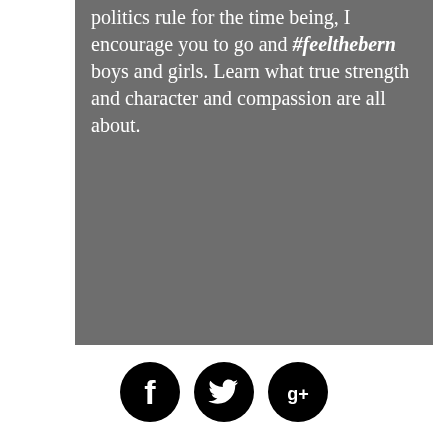politics rule for the time being, I encourage you to go and #feelthebern boys and girls. Learn what true strength and character and compassion are all about.
[Figure (other): Three social media icons: Facebook, Twitter, and Google+ displayed as black circular buttons]